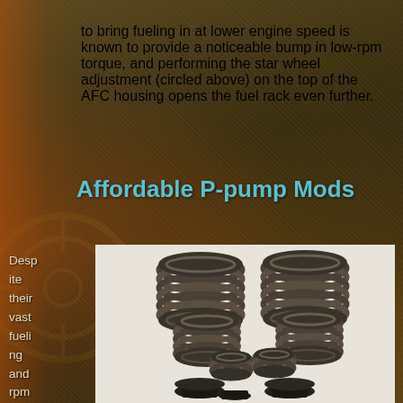to bring fueling in at lower engine speed is known to provide a noticeable bump in low-rpm torque, and performing the star wheel adjustment (circled above) on the top of the AFC housing opens the fuel rack even further.
Affordable P-pump Mods
Despite their vast fueling and rpm potential,
[Figure (photo): Photograph of multiple valve springs (coil springs) in various sizes arranged on a white background, showing performance diesel engine valve spring components.]